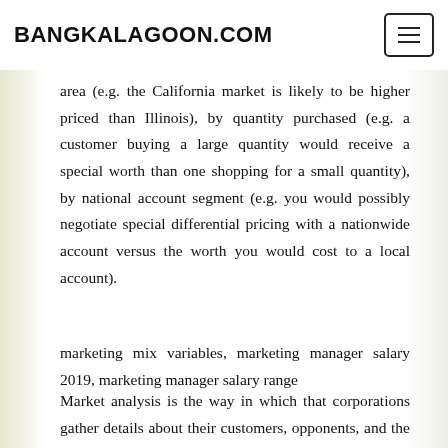BANGKALAGOON.COM
area (e.g. the California market is likely to be higher priced than Illinois), by quantity purchased (e.g. a customer buying a large quantity would receive a special worth than one shopping for a small quantity), by national account segment (e.g. you would possibly negotiate special differential pricing with a nationwide account versus the worth you would cost to a local account).
marketing mix variables, marketing manager salary 2019, marketing manager salary range
Market analysis is the way in which that corporations gather details about their customers, opponents, and the effectiveness of their marketing campaigns for those of you who're questioning what it is. In recent years the internet has had a huge affect on the way in